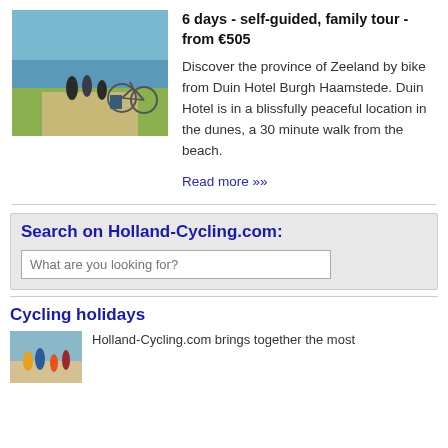[Figure (photo): Photo of people sitting by the water with bicycles in the foreground on a sunny day]
6 days  -  self-guided, family tour  -  from €505
Discover the province of Zeeland by bike from Duin Hotel Burgh Haamstede. Duin Hotel is in a blissfully peaceful location in the dunes, a 30 minute walk from the beach.
Read more »»
Search on Holland-Cycling.com:
What are you looking for?
Cycling holidays
[Figure (photo): Small thumbnail photo of cyclists]
Holland-Cycling.com brings together the most